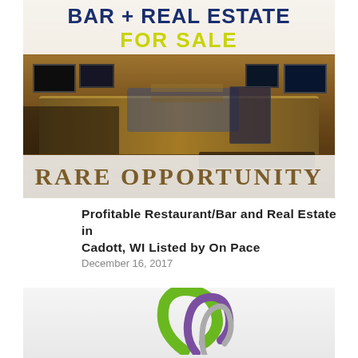[Figure (photo): Photo of a bar/restaurant interior with overlay banners reading 'BAR + REAL ESTATE FOR SALE' at the top and 'RARE OPPORTUNITY' at the bottom. The bar has a wooden counter, stools, TVs, and warm lighting.]
Profitable Restaurant/Bar and Real Estate in Cadott, WI Listed by On Pace
December 16, 2017
[Figure (logo): Logo graphic on light gray background — appears to be the On Pace logo with green and purple swoosh elements.]